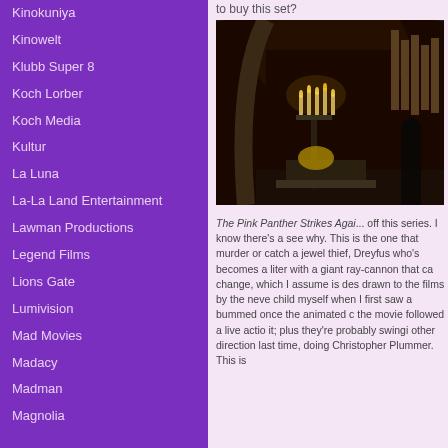Kinokuniya
Kinowelt
Klubb Super 8
Koch Lorber
Koch Media
Kultur
La Luna
La-La Land Entertainment
Lawman Productions
Legend Films
Lions Gate
Lumivision
Mad Movies
Madacy
Madman
Magnolia
to buy this set?
[Figure (photo): Movie still from The Pink Panther Strikes Again showing a dark cathedral interior with candelabras and organ pipes]
The Pink Panther Strikes Agai... off this series.  I know there's a see why.  This is the one that murder or catch a jewel thief, Dreyfus who's becomes a liter with a giant ray-cannon that ca change, which I assume is des drawn to the films by the neve child myself when I first saw a bummed once the animated c the movie followed a live actio it; plus they're probably swingi other direction last time, doing Christopher Plummer.  This is